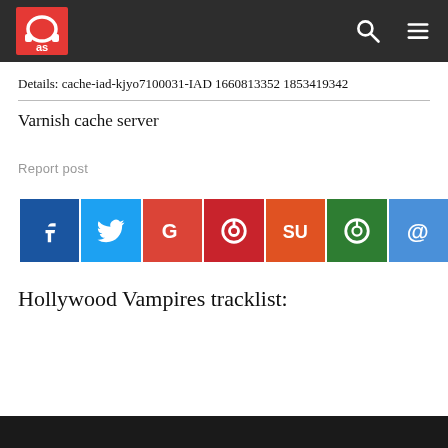as [logo] [search] [menu]
Details: cache-iad-kjyo7100031-IAD 1660813352 1853419342
Varnish cache server
Report post
[Figure (other): Social sharing buttons: Facebook, Twitter, Google, Pinterest, StumbleUpon, WhatsApp, Email]
Hollywood Vampires tracklist: